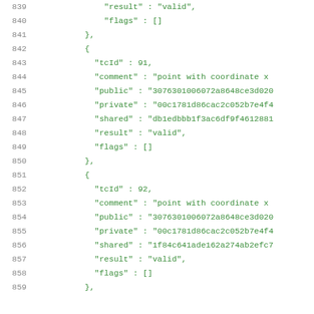839    "result" : "valid",
840    "flags" : []
841  },
842  {
843    "tcId" : 91,
844    "comment" : "point with coordinate x
845    "public" : "3076301006072a8648ce3d020
846    "private" : "00c1781d86cac2c052b7e4f4
847    "shared" : "db1edbbb1f3ac6df9f4612881
848    "result" : "valid",
849    "flags" : []
850  },
851  {
852    "tcId" : 92,
853    "comment" : "point with coordinate x
854    "public" : "3076301006072a8648ce3d020
855    "private" : "00c1781d86cac2c052b7e4f4
856    "shared" : "1f84c641ade162a274ab2efc7
857    "result" : "valid",
858    "flags" : []
859  },